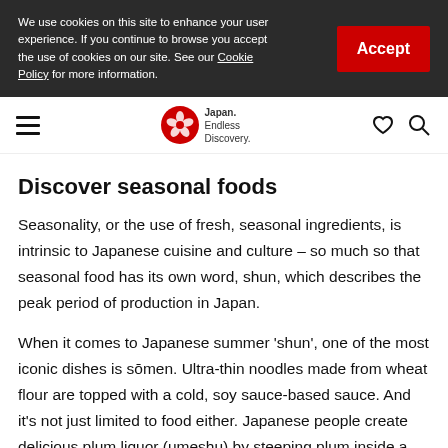We use cookies on this site to enhance your user experience. If you continue to browse you accept the use of cookies on our site. See our Cookie Policy for more information.
Accept
Japan. Endless Discovery.
Discover seasonal foods
Seasonality, or the use of fresh, seasonal ingredients, is intrinsic to Japanese cuisine and culture – so much so that seasonal food has its own word, shun, which describes the peak period of production in Japan.
When it comes to Japanese summer 'shun', one of the most iconic dishes is sōmen. Ultra-thin noodles made from wheat flour are topped with a cold, soy sauce-based sauce. And it's not just limited to food either. Japanese people create delicious plum liquor (umeshu) by steeping plum inside a glass jar, filling it with sugar and white liquor